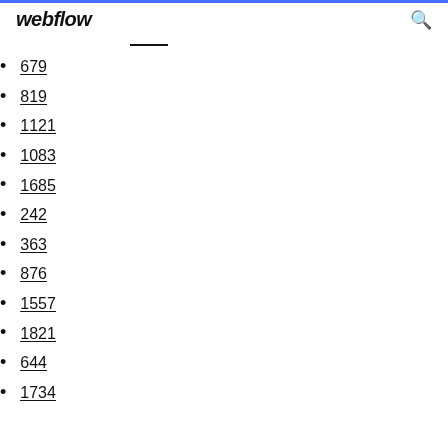webflow
679
819
1121
1083
1685
242
363
876
1557
1821
644
1734